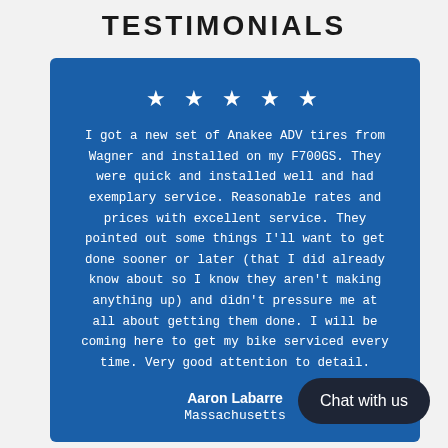TESTIMONIALS
★ ★ ★ ★ ★
I got a new set of Anakee ADV tires from Wagner and installed on my F700GS. They were quick and installed well and had exemplary service. Reasonable rates and prices with excellent service. They pointed out some things I'll want to get done sooner or later (that I did already know about so I know they aren't making anything up) and didn't pressure me at all about getting them done. I will be coming here to get my bike serviced every time. Very good attention to detail.
Aaron Labarre
Massachusetts
Chat with us